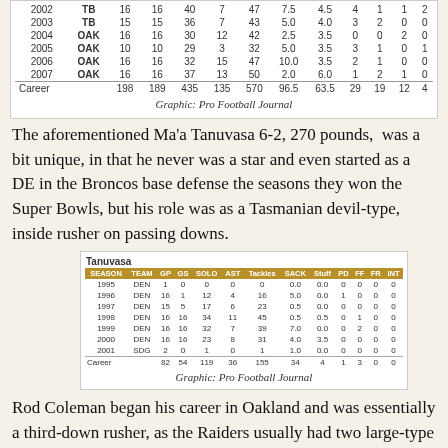|  | TEAM | GP | GS | SOLO | AST | Tackles | SACK | Stuff | PD | FF | FR | INT |
| --- | --- | --- | --- | --- | --- | --- | --- | --- | --- | --- | --- | --- |
| 2002 | TB | 16 | 16 | 40 | 7 | 47 | 7.5 | 4.5 | 4 | 1 | 1 | 2 |
| 2003 | TB | 15 | 15 | 36 | 7 | 43 | 5.0 | 4.0 | 3 | 2 | 0 | 0 |
| 2004 | OAK | 16 | 16 | 30 | 12 | 42 | 2.5 | 3.5 | 0 | 0 | 2 | 0 |
| 2005 | OAK | 10 | 10 | 29 | 3 | 32 | 5.0 | 3.5 | 3 | 1 | 0 | 1 |
| 2006 | OAK | 16 | 16 | 32 | 15 | 47 | 10.0 | 3.5 | 2 | 1 | 0 | 0 |
| 2007 | OAK | 16 | 16 | 37 | 13 | 50 | 2.0 | 6.0 | 1 | 2 | 1 | 0 |
| Career |  | 198 | 189 | 435 | 135 | 570 | 96.5 | 63.5 | 29 | 19 | 12 | 4 |
Graphic: Pro Football Journal
The aforementioned Ma'a Tanuvasa 6-2, 270 pounds, was a bit unique, in that he never was a star and even started as a DE in the Broncos base defense the seasons they won the Super Bowls, but his role was as a Tasmanian devil-type, inside rusher on passing downs.
| SEASON | TEAM | GP | GS | SOLO | AST | Tackles | SACK | Stuff | PD | FF | FR | INT |
| --- | --- | --- | --- | --- | --- | --- | --- | --- | --- | --- | --- | --- |
| 1995 | DEN | 1 | 0 | 0 | 0 | 0 | 0.0 | 0.0 | 0 | 0 | 0 | 0 |
| 1996 | DEN | 16 | 1 | 12 | 4 | 16 | 5.0 | 0.0 | 1 | 0 | 0 | 0 |
| 1997 | DEN | 15 | 5 | 17 | 6 | 23 | 0.5 | 0.0 | 0 | 0 | 0 | 0 |
| 1998 | DEN | 16 | 16 | 34 | 11 | 45 | 0.5 | 0.5 | 0 | 1 | 0 | 0 |
| 1999 | DEN | 16 | 16 | 32 | 7 | 39 | 7.0 | 0.0 | 0 | 2 | 0 | 0 |
| 2000 | DEN | 16 | 16 | 23 | 8 | 31 | 4.0 | 3.5 | 0 | 0 | 0 | 0 |
| 2001 | SDG | 2 | 0 | 1 | 0 | 1 | 1.0 | 0.0 | 0 | 0 | 0 | 0 |
| Career |  | 82 | 54 | 119 | 36 | 155 | 34 | 4 | 1 | 3 | 0 | 0 |
Graphic: Pro Football Journal
Rod Coleman began his career in Oakland and was essentially a third-down rusher, as the Raiders usually had two large-type DTs